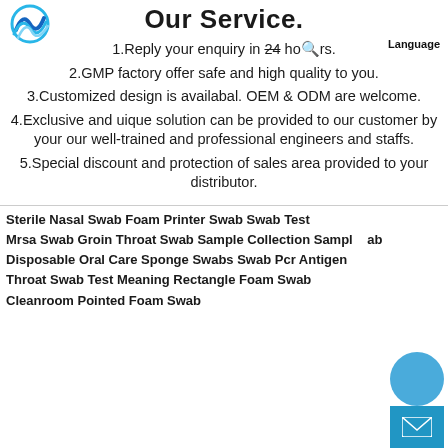Our Service.
1.Reply your enquiry in 24 hours.
2.GMP factory offer safe and high quality to you.
3.Customized design is availabal. OEM & ODM are welcome.
4.Exclusive and uique solution can be provided to our customer by your our well-trained and professional engineers and staffs.
5.Special discount and protection of sales area provided to your distributor.
Sterile Nasal Swab Foam Printer Swab Swab Test
Mrsa Swab Groin Throat Swab Sample Collection Sample Swab
Disposable Oral Care Sponge Swabs Swab Pcr Antigen
Throat Swab Test Meaning Rectangle Foam Swab
Cleanroom Pointed Foam Swab